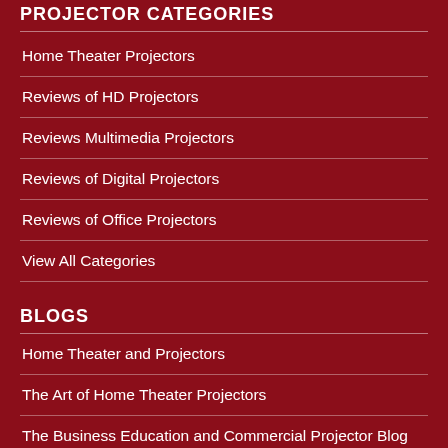PROJECTOR CATEGORIES
Home Theater Projectors
Reviews of HD Projectors
Reviews Multimedia Projectors
Reviews of Digital Projectors
Reviews of Office Projectors
View All Categories
BLOGS
Home Theater and Projectors
The Art of Home Theater Projectors
The Business Education and Commercial Projector Blog
The Art of Gaming